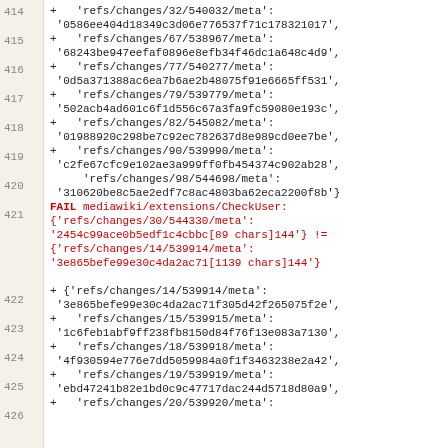414  +   'refs/changes/32/540032/meta': '0586ee404d18349c3d06e776537f71c178321017',
415  +   'refs/changes/67/538967/meta': '68243be947eefaf0896e8efb34f46dc1a648c4d9',
416  +   'refs/changes/77/540277/meta': '0d5a371388ac6ea7b6ae2b48075f91e6665ff531',
417  +   'refs/changes/79/539779/meta': '502acb4ad601c6f1d556c67a3fa9fc59080e193c',
418  +   'refs/changes/82/545082/meta': '01988920c298be7c92ec782637d8e989cd0ee7be',
419  +   'refs/changes/90/539990/meta': 'c2fe67cfc9e102ae3a999ff0fb454374c902ab28',
420      'refs/changes/98/544698/meta': '310620be8c5ae2edf7c8ac4803ba62eca2200f8b'}
421  FAIL mediawiki/extensions/CheckUser: {'refs/changes/30/544330/meta': '2454c99ace0b5edf1c4cbbc[89 chars]144'} != {'refs/changes/14/539914/meta': '3e865befe99e30c4da2ac71[1139 chars]144'}
422  + {'refs/changes/14/539914/meta': '3e865befe99e30c4da2ac71f305d42f265075f2e',
423  +   'refs/changes/15/539915/meta': '1c6feb1abf9ff238fb8150d84f76f13e083a7130',
424  +   'refs/changes/18/539918/meta': '4f930594e776e7dd5059984a0f1f3463238e2a42',
425  +   'refs/changes/19/539919/meta': 'ebd47241b82e1bd0c9c47717dac244d5718d80a9',
426  +   'refs/changes/20/539920/meta':